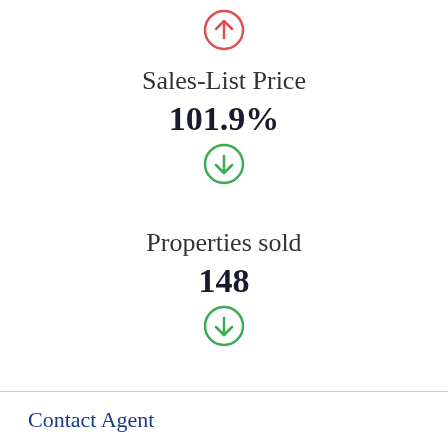[Figure (infographic): Red circle with upward arrow icon]
Sales-List Price
101.9%
[Figure (infographic): Green circle with downward arrow icon]
Properties sold
148
[Figure (infographic): Green circle with downward arrow icon]
Contact Agent